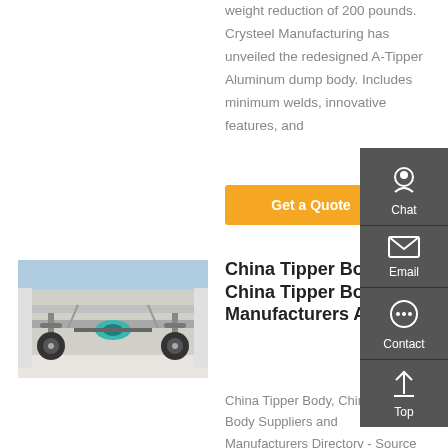weight reduction of 200 pounds. Crysteel Manufacturing has unveiled the redesigned A-Tipper Aluminum dump body. Includes minimum welds, innovative features, and
Get a Quote
[Figure (photo): Underside of a truck/vehicle showing chassis, axles, and suspension components]
China Tipper Body, China Tipper Body Manufacturers And ...
China Tipper Body, China Tipper Body Suppliers and Manufacturers Directory - Source